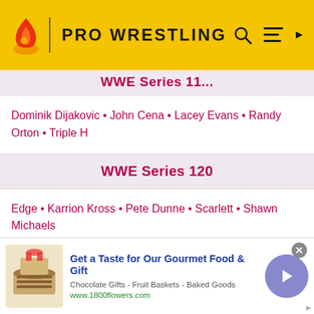PRO WRESTLING
Dominik Dijakovic • John Cena • Lacey Evans • Randy Orton • Triple H
WWE Series 120
Edge • Karrion Kross • Pete Dunne • Scarlett • Shawn Michaels
WWE Series 121
Apollo Crews • Bayley • Kane • Rey Mysterio • Roman Reigns
WWE Series 122
Charlotte Flair • Chelsea Green • Damian Priest • Drew
[Figure (infographic): Advertisement banner for 1800flowers.com Gourmet Food & Gift with basket image]